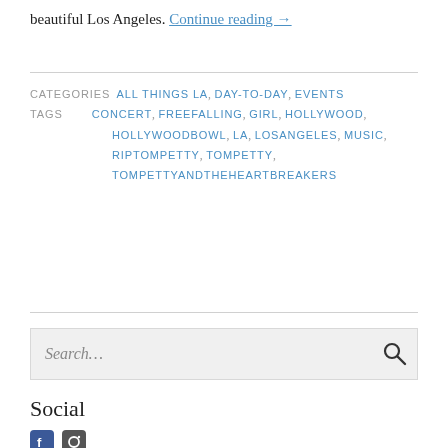beautiful Los Angeles. Continue reading →
CATEGORIES  ALL THINGS LA, DAY-TO-DAY, EVENTS
TAGS  CONCERT, FREEFALLING, GIRL, HOLLYWOOD, HOLLYWOODBOWL, LA, LOSANGELES, MUSIC, RIPTOMPETTY, TOMPETTY, TOMPETTYANDTHEHEARTBREAKERS
Search…
Social